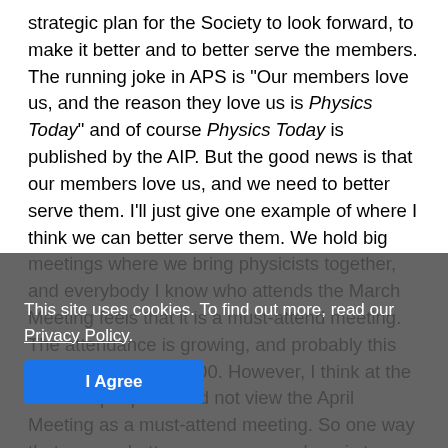strategic plan for the Society to look forward, to make it better and to better serve the members. The running joke in APS is "Our members love us, and the reason they love us is Physics Today" and of course Physics Today is published by the AIP. But the good news is that our members love us, and we need to better serve them. I'll just give one example of where I think we can better serve them. We hold big meetings where we bring physicists together, and everybody I know who attends the March Meeting feels that it is a must-attend meeting. The attendance is growing, and probably this year we'll break 10,000. However, I think at the moment people would not view the April Meeting as a must-attend meeting. So one way that we can better serve our members is to improve our meetings, starting with the April Meeting. The second bullet of the strategic plan is better serving physics, and the meetings come into play there. The third bullet is better serving society, giving app...ation and the world require solutions that are ...d many of them involve physics. The last bullet is one that everyone will benefit from... the end, but to the ch...
This site uses cookies. To find out more, read our Privacy Policy.